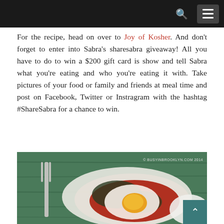[navigation bar with search and menu icons]
For the recipe, head on over to Joy of Kosher. And don't forget to enter into Sabra's sharesabra giveaway! All you have to do to win a $200 gift card is show and tell Sabra what you're eating and who you're eating it with. Take pictures of your food or family and friends at meal time and post on Facebook, Twitter or Instragram with the hashtag #ShareSabra for a chance to win.
[Figure (photo): A plate of food (appears to be shakshuka or eggs with tomato sauce) on a white napkin with a fork to the left, on a green wooden surface. Copyright © BUSYINBROOKLYN.COM 2014.]